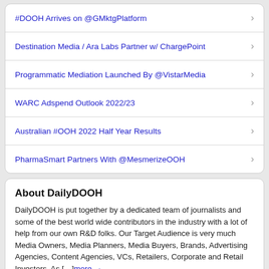#DOOH Arrives on @GMktgPlatform
Destination Media / Ara Labs Partner w/ ChargePoint
Programmatic Mediation Launched By @VistarMedia
WARC Adspend Outlook 2022/23
Australian #OOH 2022 Half Year Results
PharmaSmart Partners With @MesmerizeOOH
About DailyDOOH
DailyDOOH is put together by a dedicated team of journalists and some of the best world wide contributors in the industry with a lot of help from our own R&D folks. Our Target Audience is very much Media Owners, Media Planners, Media Buyers, Brands, Advertising Agencies, Content Agencies, VCs, Retailers, Corporate and Retail Investors. As […]more →